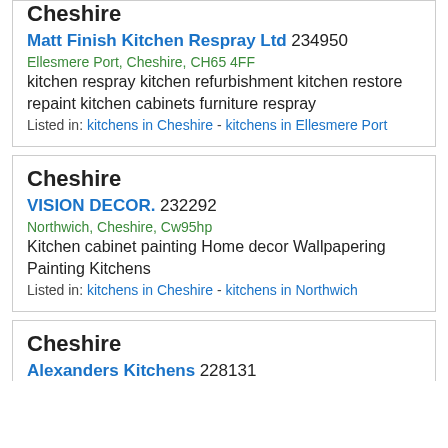Cheshire
Matt Finish Kitchen Respray Ltd 234950
Ellesmere Port, Cheshire, CH65 4FF
kitchen respray kitchen refurbishment kitchen restore repaint kitchen cabinets furniture respray
Listed in: kitchens in Cheshire - kitchens in Ellesmere Port
Cheshire
VISION DECOR. 232292
Northwich, Cheshire, Cw95hp
Kitchen cabinet painting Home decor Wallpapering Painting Kitchens
Listed in: kitchens in Cheshire - kitchens in Northwich
Cheshire
Alexanders Kitchens 228131